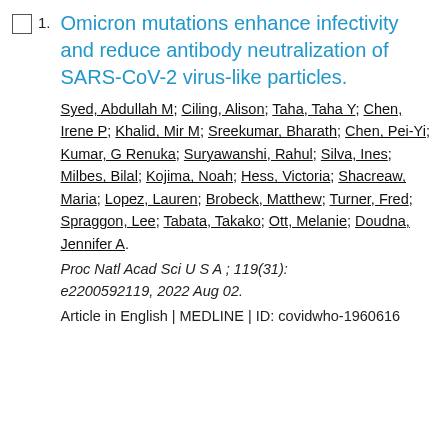Omicron mutations enhance infectivity and reduce antibody neutralization of SARS-CoV-2 virus-like particles.
Syed, Abdullah M; Ciling, Alison; Taha, Taha Y; Chen, Irene P; Khalid, Mir M; Sreekumar, Bharath; Chen, Pei-Yi; Kumar, G Renuka; Suryawanshi, Rahul; Silva, Ines; Milbes, Bilal; Kojima, Noah; Hess, Victoria; Shacreaw, Maria; Lopez, Lauren; Brobeck, Matthew; Turner, Fred; Spraggon, Lee; Tabata, Takako; Ott, Melanie; Doudna, Jennifer A.
Proc Natl Acad Sci U S A ; 119(31): e2200592119, 2022 Aug 02.
Article in English | MEDLINE | ID: covidwho-1960616